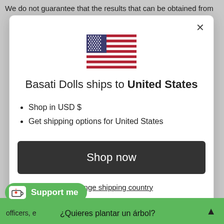We do not guarantee that the results that can be obtained from
[Figure (screenshot): Modal dialog showing US flag, title 'Basati Dolls ships to United States', bullet points 'Shop in USD $' and 'Get shipping options for United States', a 'Shop now' dark button, and a 'Change shipping country' link. An X close button is in the top right corner.]
Shop in USD $
Get shipping options for United States
Change shipping country
[Figure (screenshot): Green 'Support me' button with a coffee cup icon in the bottom left, and a green banner at the bottom with text '¿Quieres plantar un árbol?' and partial text 'officers, e']